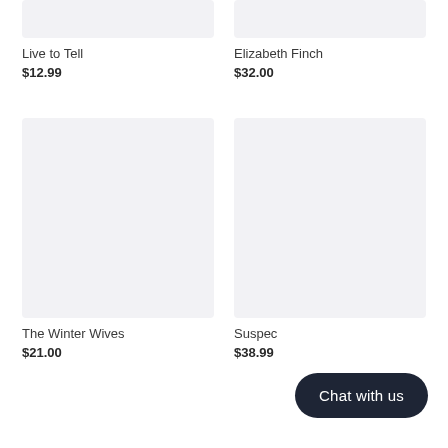[Figure (other): Book cover placeholder image (light gray rectangle, top-cropped) for Live to Tell]
Live to Tell
$12.99
[Figure (other): Book cover placeholder image (light gray rectangle, top-cropped) for Elizabeth Finch]
Elizabeth Finch
$32.00
[Figure (other): Book cover placeholder image (light gray rectangle) for The Winter Wives]
The Winter Wives
$21.00
[Figure (other): Book cover placeholder image (light gray rectangle) for Suspect]
Suspec…
$38.99
Chat with us